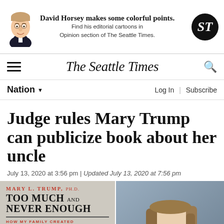[Figure (photo): Advertisement banner: David Horsey editorial cartoon character, text 'David Horsey makes some colorful points. Find his editorial cartoons in Opinion section of The Seattle Times.' with Seattle Times logo.]
The Seattle Times
Nation
Judge rules Mary Trump can publicize book about her uncle
July 13, 2020 at 3:56 pm | Updated July 13, 2020 at 7:56 pm
[Figure (photo): Left: Book cover 'MARY L. TRUMP, PH.D. TOO MUCH AND NEVER ENOUGH HOW MY FAMILY CREATED THE WORLD'S MOST DANGEROUS MAN' with a partial face at bottom. Right: Professional headshot photo of a woman with long straight brown hair.]